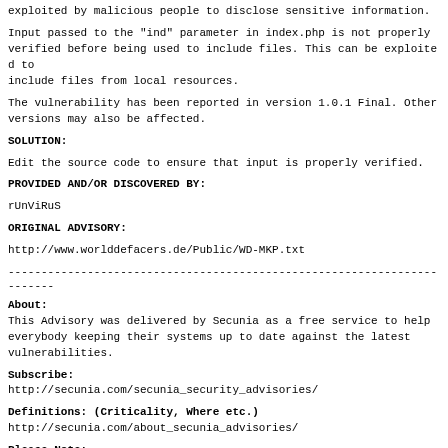exploited by malicious people to disclose sensitive information.
Input passed to the "ind" parameter in index.php is not properly verified before being used to include files. This can be exploited to include files from local resources.
The vulnerability has been reported in version 1.0.1 Final. Other versions may also be affected.
SOLUTION:
Edit the source code to ensure that input is properly verified.
PROVIDED AND/OR DISCOVERED BY:
rUnViRuS
ORIGINAL ADVISORY:
http://www.worlddefacers.de/Public/WD-MKP.txt
------------------------------------------------------------------------
About:
This Advisory was delivered by Secunia as a free service to help everybody keeping their systems up to date against the latest vulnerabilities.
Subscribe:
http://secunia.com/secunia_security_advisories/
Definitions: (Criticality, Where etc.)
http://secunia.com/about_secunia_advisories/
Please Note:
Secunia recommends that you verify all advisories you receive by clicking the link.
Secunia NEVER sends attached files with advisories.
Secunia does not advise people to install third party patches, only use those supplied by the vendor.
------------------------------------------------------------------------